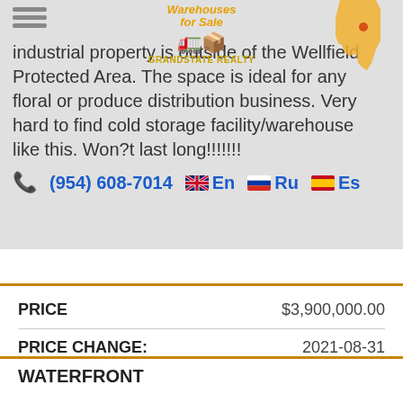industrial property is outside of the Wellfield Protected Area. The space is ideal for any floral or produce distribution business. Very hard to find cold storage facility/warehouse like this. Won?t last long!!!!!!!
(954) 608-7014  En  Ru  Es
| Field | Value |
| --- | --- |
| PRICE | $3,900,000.00 |
| PRICE CHANGE: | 2021-08-31 |
| LOT SIZE | SQ. FT. |
| PRICE PER SQ.FT. |  |
| YEAR BUILD | 1970 |
WATERFRONT